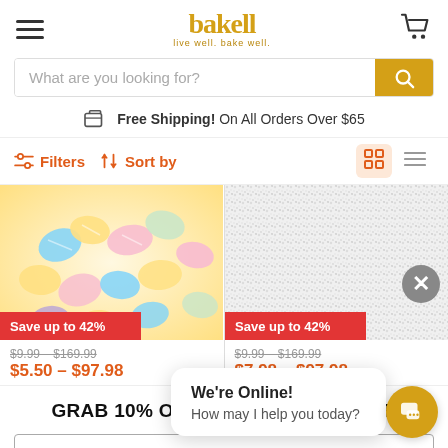bakell — live well. bake well.
What are you looking for?
Free Shipping! On All Orders Over $65
Filters  Sort by
[Figure (photo): Shell-shaped colorful candy pieces in yellow, blue, pink, purple pastel colors. Save up to 42% badge. Price: $9.99 - $169.99, Sale: $5.50 - $97.98]
[Figure (photo): White granular sugar or sprinkles close-up. Save up to 42% badge. Price: $9.99 - $169.99, Sale: $7.98 - $97.98]
GRAB 10% OFF YOUR FIRST ORDER
We're Online! How may I help you today?